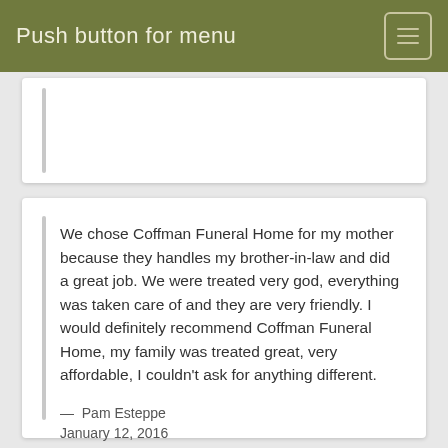Push button for menu
We chose Coffman Funeral Home for my mother because they handles my brother-in-law and did a great job. We were treated very god, everything was taken care of and they are very friendly. I would definitely recommend Coffman Funeral Home, my family was treated great, very affordable, I couldn't ask for anything different.
— Pam Esteppe
January 12, 2016